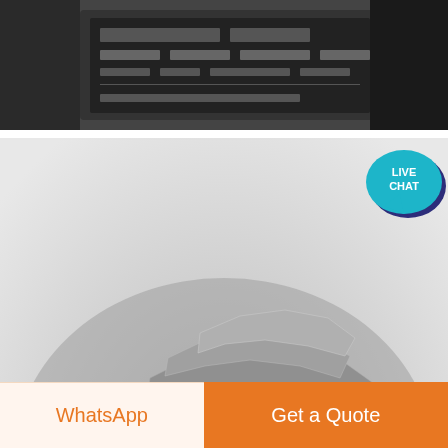[Figure (photo): Top photo showing equipment panel with data display, dark background]
[Figure (photo): Large pile of crushed grey stone/gravel aggregate material on white background]
[Figure (infographic): Live Chat speech bubble badge in teal/dark blue color in top-right corner]
crown jaw crusher csayin
Best selection of tableware and home decor in CanadaBest selection of tableware and home
[Figure (other): WhatsApp button (light orange background, orange text) and Get a Quote button (orange background, white text) at bottom of page]